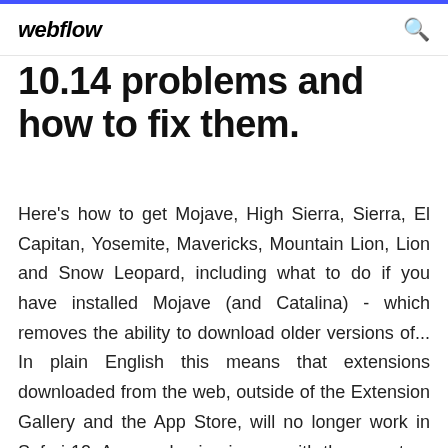webflow
10.14 problems and how to fix them.
Here's how to get Mojave, High Sierra, Sierra, El Capitan, Yosemite, Mavericks, Mountain Lion, Lion and Snow Leopard, including what to do if you have installed Mojave (and Catalina) - which removes the ability to download older versions of... In plain English this means that extensions downloaded from the web, outside of the Extension Gallery and the App Store, will no longer work in Safari 12. Are you having issues with the app store on macOS Mojave? Here are some tips that will help you if you are unable to signin or download items What's new in macOS